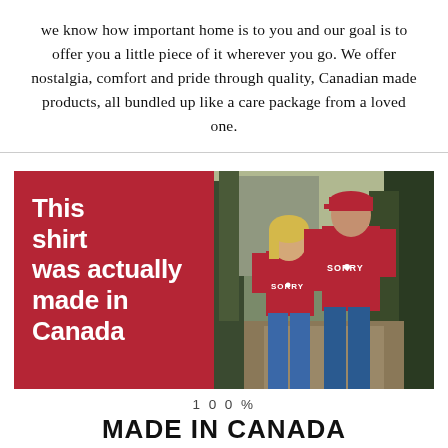we know how important home is to you and our goal is to offer you a little piece of it wherever you go. We offer nostalgia, comfort and pride through quality, Canadian made products, all bundled up like a care package from a loved one.
[Figure (photo): Split image with red panel on left reading 'This shirt was actually made in Canada' in bold white text, and on the right a photo of a man and woman walking on a path wearing red 'SORRY' t-shirts with trees in the background.]
100%
MADE IN CANADA